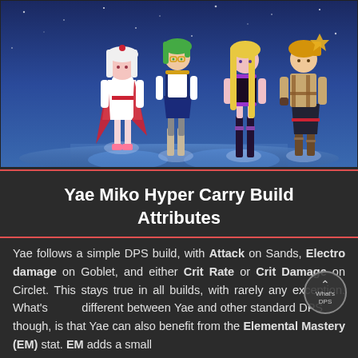[Figure (illustration): Four anime-style game characters standing against a blue starry background. From left to right: a white and red dressed female character, a dark blue dressed female character with green hair, a purple and black dressed female character with long blonde hair, and a male character in shorts with mechanical gear.]
Yae Miko Hyper Carry Build Attributes
Yae follows a simple DPS build, with Attack on Sands, Electro damage on Goblet, and either Crit Rate or Crit Damage on Circlet. This stays true in all builds, with rarely any exception. What's different between Yae and other standard DPS though, is that Yae can also benefit from the Elemental Mastery (EM) stat. EM adds a small